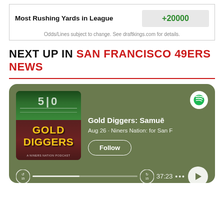| Most Rushing Yards in League | +20000 |
| --- | --- |
Odds/Lines subject to change. See draftkings.com for details.
NEXT UP IN SAN FRANCISCO 49ERS NEWS
[Figure (screenshot): Spotify podcast card for 'Gold Diggers: Samuels' episode - Aug 26, Niners Nation: for San Francisco 49ers fans. Shows album art with football field and GOLD DIGGERS text, Follow button, playback bar showing 37:23, and Spotify logo.]